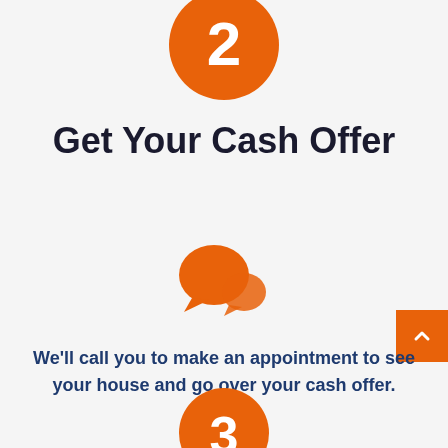[Figure (infographic): Orange circle with white number 2 inside, representing step 2]
Get Your Cash Offer
[Figure (illustration): Orange chat/speech bubble icon indicating a call or conversation]
We'll call you to make an appointment to see your house and go over your cash offer.
[Figure (infographic): Orange circle partially visible at bottom with white number 3 inside, representing step 3]